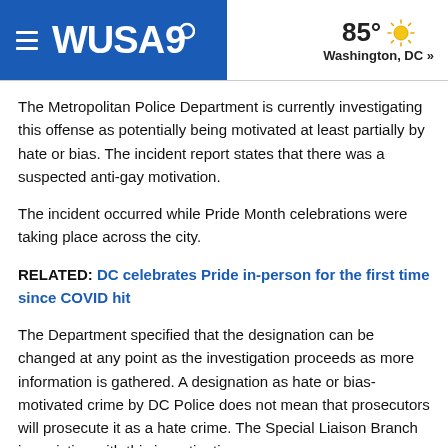WUSA9 | 85° Washington, DC »
The Metropolitan Police Department is currently investigating this offense as potentially being motivated at least partially by hate or bias. The incident report states that there was a suspected anti-gay motivation.
The incident occurred while Pride Month celebrations were taking place across the city.
RELATED: DC celebrates Pride in-person for the first time since COVID hit
The Department specified that the designation can be changed at any point as the investigation proceeds as more information is gathered. A designation as hate or bias-motivated crime by DC Police does not mean that prosecutors will prosecute it as a hate crime. The Special Liaison Branch is assisting with this investigation.
This is a developing story. WUSA9 will update this story